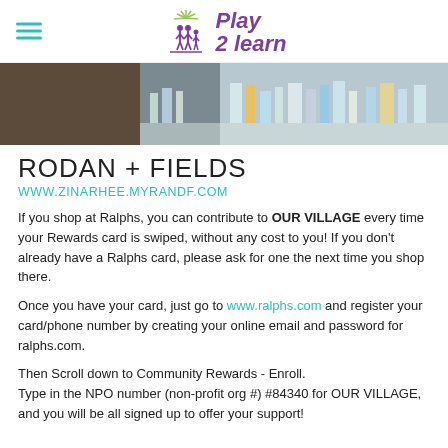Play 2 Learn
[Figure (photo): Photo of a table with various skincare/beauty products displayed]
RODAN + FIELDS
WWW.ZINARHEE.MYRANDF.COM
If you shop at Ralphs, you can contribute to OUR VILLAGE every time your Rewards card is swiped, without any cost to you! If you don't already have a Ralphs card, please ask for one the next time you shop there.
Once you have your card, just go to www.ralphs.com and register your card/phone number by creating your online email and password for ralphs.com.
Then Scroll down to Community Rewards - Enroll. Type in the NPO number (non-profit org #) #84340 for OUR VILLAGE, and you will be all signed up to offer your support!